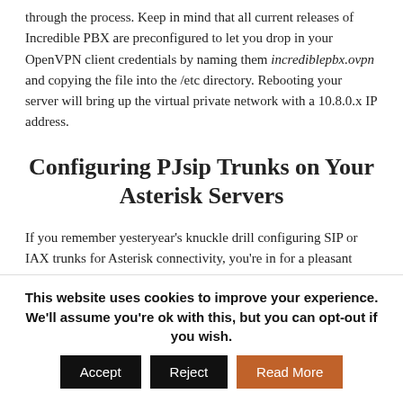through the process. Keep in mind that all current releases of Incredible PBX are preconfigured to let you drop in your OpenVPN client credentials by naming them incrediblepbx.ovpn and copying the file into the /etc directory. Rebooting your server will bring up the virtual private network with a 10.8.0.x IP address.
Configuring PJsip Trunks on Your Asterisk Servers
If you remember yesteryear's knuckle drill configuring SIP or IAX trunks for Asterisk connectivity, you're in for a pleasant surprise using PJsip trunking with FreePBX. Using the GUI, create a new PJsip trunk for every site to which you want to establish a connection. A similar PJsip trunk must be created on the other site as well. If you're just interconnecting two servers, then using
This website uses cookies to improve your experience. We'll assume you're ok with this, but you can opt-out if you wish. [Accept] [Reject] [Read More]